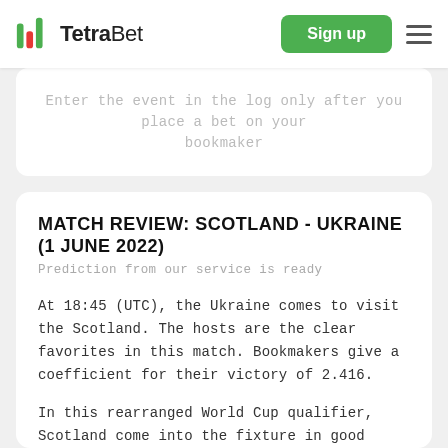TetraBet | Sign up
Enter the event in the log only after you place a bet on your bookmaker
MATCH REVIEW: SCOTLAND - UKRAINE (1 JUNE 2022)
Prediction from our service is ready
At 18:45 (UTC), the Ukraine comes to visit the Scotland. The hosts are the clear favorites in this match. Bookmakers give a coefficient for their victory of 2.416.
In this rearranged World Cup qualifier, Scotland come into the fixture in good form. They are unbeaten in eight, though did draw their two March internationals with Poland and Austria, respectively. Ukraine beat Gladbach in a Hybrid Friendly in early May, but due to Russia's invasion of the country, this will be their first international fixture since a 2-0 win over Bosnia-Herzegovina in November. In what is suspected to be an